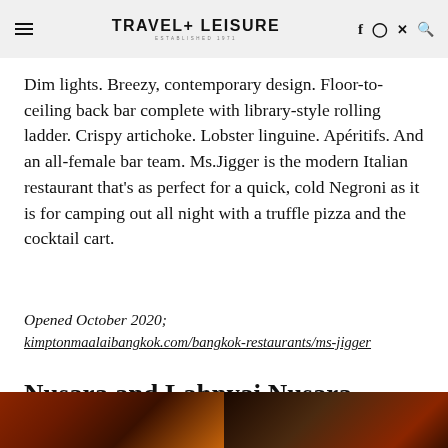TRAVEL+ LEISURE
Dim lights. Breezy, contemporary design. Floor-to-ceiling back bar complete with library-style rolling ladder. Crispy artichoke. Lobster linguine. Apéritifs. And an all-female bar team. Ms.Jigger is the modern Italian restaurant that's as perfect for a quick, cold Negroni as it is for camping out all night with a truffle pizza and the cocktail cart.
Opened October 2020;
kimptonmaalaibangkok.com/bangkok-restaurants/ms-jigger
Nusara and Lahnyai Nusara
[Figure (photo): Two food/restaurant photos side by side at the bottom of the page, showing dark reddish tones suggesting restaurant ambiance or food items]